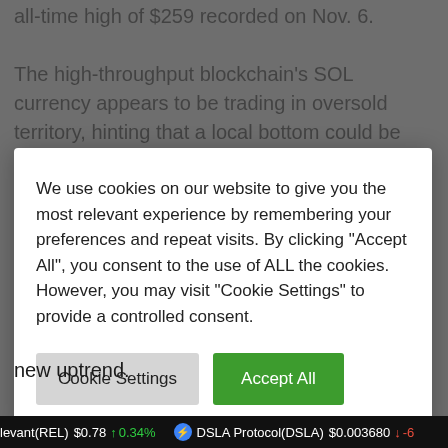all-time high of $259 recorded on Nov. 6.
The high-throughput blockchain's SOL currency appears to be trading in oversold territory, hinting that a local bottom could be about to form. The optimistic
We use cookies on our website to give you the most relevant experience by remembering your preferences and repeat visits. By clicking "Accept All", you consent to the use of ALL the cookies. However, you may visit "Cookie Settings" to provide a controlled consent.
new uptrend.
A spike in buying pressure around the current price levels could help validate the thesis presented by the
levant(REL) $0.78 ↑ 0.34%   DSLA Protocol(DSLA) $0.003680 ↓ -6